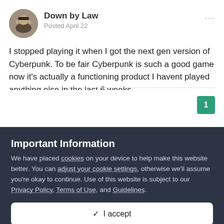Down by Law
Posted April 22
I stopped playing it when I got the next gen version of Cyberpunk. To be fair Cyberpunk is such a good game now it's actually a functioning product I havent played anything else in the last 6 weeks
1
Important Information
We have placed cookies on your device to help make this website better. You can adjust your cookie settings, otherwise we'll assume you're okay to continue. Use of this website is subject to our Privacy Policy, Terms of Use, and Guidelines.
✓ I accept